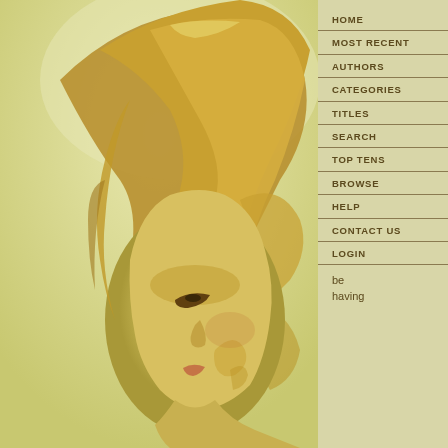[Figure (illustration): Digital painting of a woman with long golden/blonde wavy hair blowing in the wind, shown in profile view facing right, with a golden/yellow-green toned color palette. The woman has an elegant, stylized appearance.]
HOME
MOST RECENT
AUTHORS
CATEGORIES
TITLES
SEARCH
TOP TENS
BROWSE
HELP
CONTACT US
LOGIN
be
having